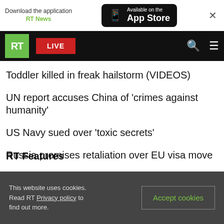[Figure (screenshot): App download banner: 'Download the application RT News' with App Store badge and close button]
RT LIVE | navigation bar with search and menu icons
Israel attacks Aleppo International airport – Syrian
Toddler killed in freak hailstorm (VIDEOS)
UN report accuses China of 'crimes against humanity'
US Navy sued over 'toxic secrets'
Russia promises retaliation over EU visa move
RT Features
This website uses cookies. Read RT Privacy policy to find out more.